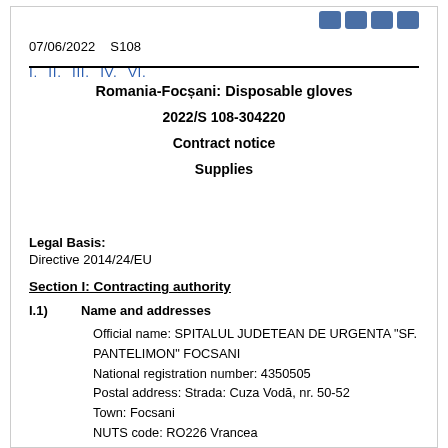07/06/2022   S108
I.  II.  III.  IV.  VI.
Romania-Focșani: Disposable gloves
2022/S 108-304220
Contract notice
Supplies
Legal Basis:
Directive 2014/24/EU
Section I: Contracting authority
I.1)  Name and addresses
Official name: SPITALUL JUDETEAN DE URGENTA "SF. PANTELIMON" FOCSANI
National registration number: 4350505
Postal address: Strada: Cuza Vodă, nr. 50-52
Town: Focsani
NUTS code: RO226 Vrancea
Postal code: 620034
Country: Romania
Contact person: Anca Olaru